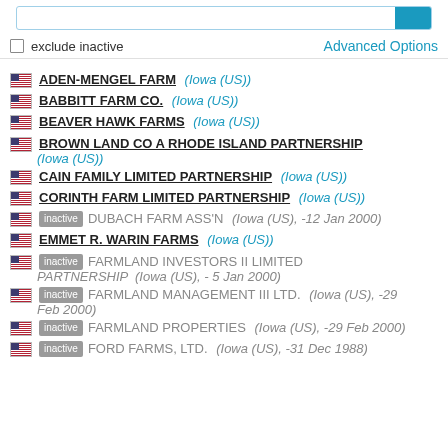ADEN-MENGEL FARM (Iowa (US))
BABBITT FARM CO. (Iowa (US))
BEAVER HAWK FARMS (Iowa (US))
BROWN LAND CO A RHODE ISLAND PARTNERSHIP (Iowa (US))
CAIN FAMILY LIMITED PARTNERSHIP (Iowa (US))
CORINTH FARM LIMITED PARTNERSHIP (Iowa (US))
inactive DUBACH FARM ASS'N (Iowa (US), -12 Jan 2000)
EMMET R. WARIN FARMS (Iowa (US))
inactive FARMLAND INVESTORS II LIMITED PARTNERSHIP (Iowa (US), - 5 Jan 2000)
inactive FARMLAND MANAGEMENT III LTD. (Iowa (US), -29 Feb 2000)
inactive FARMLAND PROPERTIES (Iowa (US), -29 Feb 2000)
inactive FORD FARMS, LTD. (Iowa (US), -31 Dec 1988)